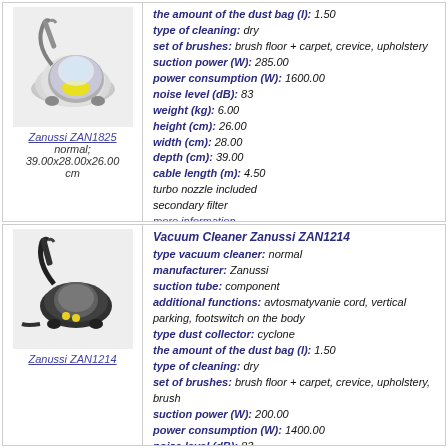[Figure (photo): Zanussi ZAN1825 vacuum cleaner product photo]
Zanussi ZAN1825
normal;
39.00x28.00x26.00 cm
the amount of the dust bag (l): 1.50
type of cleaning: dry
set of brushes: brush floor + carpet, crevice, upholstery
suction power (W): 285.00
power consumption (W): 1600.00
noise level (dB): 83
weight (kg): 6.00
height (cm): 26.00
width (cm): 28.00
depth (cm): 39.00
cable length (m): 4.50
turbo nozzle included
secondary filter
more information
[Figure (photo): Zanussi ZAN1214 vacuum cleaner product photo]
Zanussi ZAN1214
Vacuum Cleaner Zanussi ZAN1214
type vacuum cleaner: normal
manufacturer: Zanussi
suction tube: component
additional functions: avtosmatyvanie cord, vertical parking, footswitch on the body
type dust collector: cyclone
the amount of the dust bag (l): 1.50
type of cleaning: dry
set of brushes: brush floor + carpet, crevice, upholstery, brush
suction power (W): 200.00
power consumption (W): 1400.00
noise level (dB): 83
weight (kg): 3.70
height (cm): 26.00